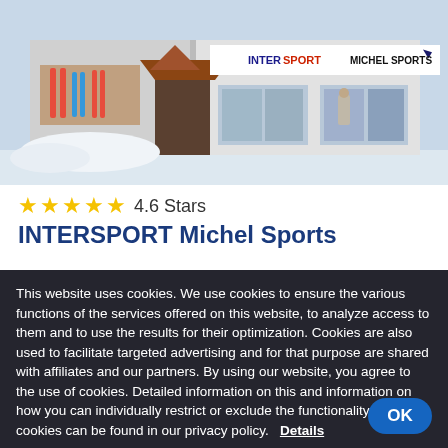[Figure (photo): Exterior storefront of INTERSPORT Michel Sports, a ski/sports shop in winter, with snow visible and store signage showing INTERSPORT and MICHEL SPORTS logos.]
4.6 Stars
INTERSPORT Michel Sports
This website uses cookies. We use cookies to ensure the various functions of the services offered on this website, to analyze access to them and to use the results for their optimization. Cookies are also used to facilitate targeted advertising and for that purpose are shared with affiliates and our partners. By using our website, you agree to the use of cookies. Detailed information on this and information on how you can individually restrict or exclude the functionality of cookies can be found in our privacy policy.   Details
Cookie Settings
OK